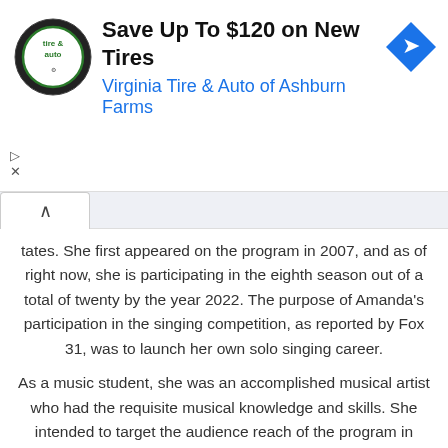[Figure (other): Advertisement banner: circular tire & auto logo on left, text 'Save Up To $120 on New Tires' and 'Virginia Tire & Auto of Ashburn Farms' in center, blue navigation diamond icon on right]
tates. She first appeared on the program in 2007, and as of right now, she is participating in the eighth season out of a total of twenty by the year 2022. The purpose of Amanda's participation in the singing competition, as reported by Fox 31, was to launch her own solo singing career.
As a music student, she was an accomplished musical artist who had the requisite musical knowledge and skills. She intended to target the audience reach of the program in order to become a big character on American Idol. Before she was removed, she had made it all the way up to the top 50. Even though Simon Cowell was the only judge in the